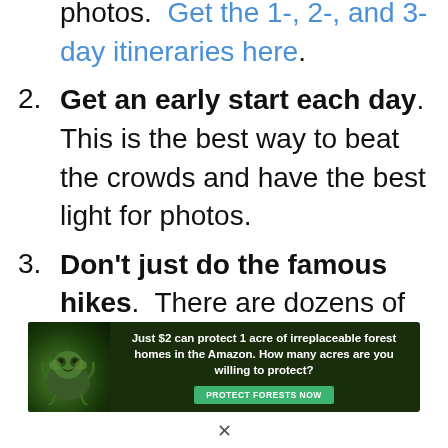photos.  Get the 1-, 2-, and 3-day itineraries here.
2. Get an early start each day.  This is the best way to beat the crowds and have the best light for photos.
3. Don't just do the famous hikes.  There are dozens of incredible trails in Zion that are less crowded but no less
[Figure (other): Advertisement banner: Just $2 can protect 1 acre of irreplaceable forest homes in the Amazon. How many acres are you willing to protect? Protect Forests Now button. Shows a sloth in a dark forest background.]